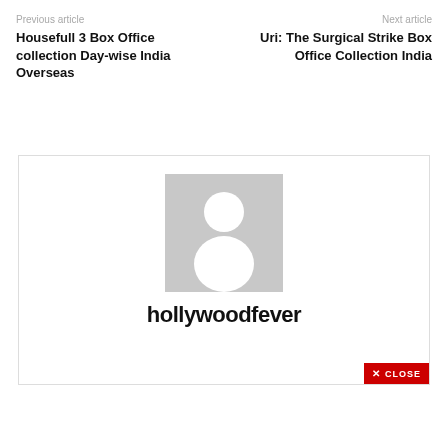Previous article
Housefull 3 Box Office collection Day-wise India Overseas
Next article
Uri: The Surgical Strike Box Office Collection India
[Figure (illustration): User profile placeholder image with gray background and white silhouette of a person]
hollywoodfever